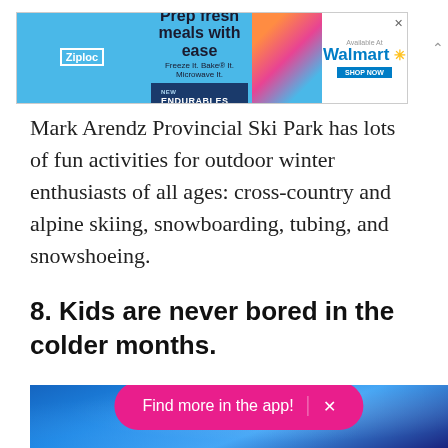[Figure (photo): Ziploc advertisement banner: 'Prep fresh meals with ease – Freeze it. Bake it. Microwave it. NEW ENDURABLES. Available At Walmart.']
Mark Arendz Provincial Ski Park has lots of fun activities for outdoor winter enthusiasts of all ages: cross-country and alpine skiing, snowboarding, tubing, and snowshoeing.
8. Kids are never bored in the colder months.
[Figure (photo): Blue water/ice background photo with a pink 'Find more in the app!' button overlay with an X close button.]